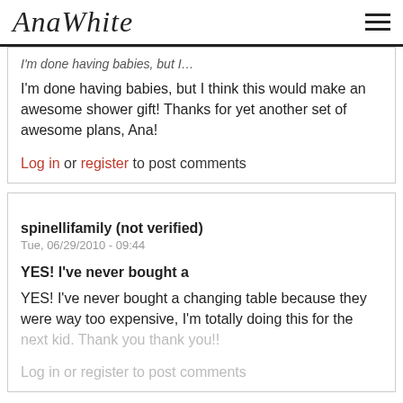AnaWhite
I'm done having babies, but I think this would make an awesome shower gift! Thanks for yet another set of awesome plans, Ana!
Log in or register to post comments
spinellifamily (not verified)
Tue, 06/29/2010 - 09:44
YES! I've never bought a
YES! I've never bought a changing table because they were way too expensive, I'm totally doing this for the next kid. Thank you thank you!!
Log in or register to post comments